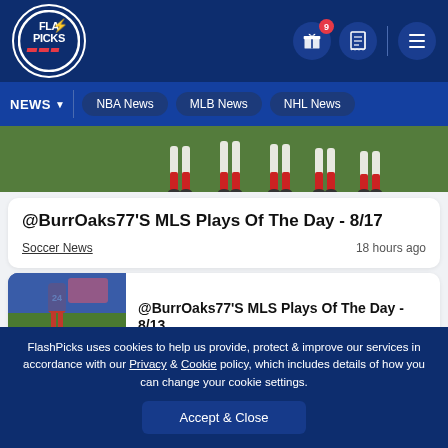[Figure (logo): Flash Picks logo - circular white border on dark blue background with lightning bolt]
FlashPicks navigation header with gift icon (badge: 9), receipt icon, and hamburger menu
NEWS  NBA News  MLB News  NHL News
[Figure (photo): Soccer players' legs in white uniforms on a green field]
@BurrOaks77'S MLS Plays Of The Day - 8/17
Soccer News   18 hours ago
[Figure (photo): Soccer player wearing number 24 red jersey on a field]
@BurrOaks77'S MLS Plays Of The Day - 8/13
FlashPicks uses cookies to help us provide, protect & improve our services in accordance with our Privacy & Cookie policy, which includes details of how you can change your cookie settings.
Accept & Close